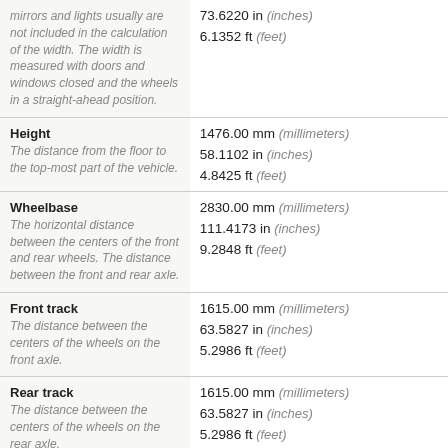| Dimension | Value |
| --- | --- |
| mirrors and lights usually are not included in the calculation of the width. The width is measured with doors and windows closed and the wheels in a straight-ahead position. | 73.6220 in (inches)
6.1352 ft (feet) |
| Height
The distance from the floor to the top-most part of the vehicle. | 1476.00 mm (millimeters)
58.1102 in (inches)
4.8425 ft (feet) |
| Wheelbase
The horizontal distance between the centers of the front and rear wheels. The distance between the front and rear axle. | 2830.00 mm (millimeters)
111.4173 in (inches)
9.2848 ft (feet) |
| Front track
The distance between the centers of the wheels on the front axle. | 1615.00 mm (millimeters)
63.5827 in (inches)
5.2986 ft (feet) |
| Rear track
The distance between the centers of the wheels on the rear axle. | 1615.00 mm (millimeters)
63.5827 in (inches)
5.2986 ft (feet) |